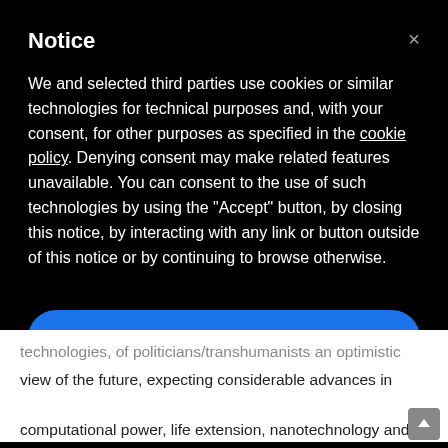Notice
We and selected third parties use cookies or similar technologies for technical purposes and, with your consent, for other purposes as specified in the cookie policy. Denying consent may make related features unavailable. You can consent to the use of such technologies by using the "Accept" button, by closing this notice, by interacting with any link or button outside of this notice or by continuing to browse otherwise.
Accept
Learn more and customize
technologies, of politicians/transhumanists an optimistic view of the future, expecting considerable advances in computational power, life extension, nanotechnology and the eventual elimination of indefinite life spans and the